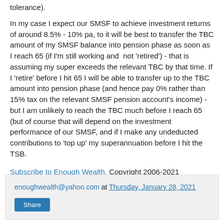tolerance).
In my case I expect our SMSF to achieve investment returns of around 8.5% - 10% pa, to it will be best to transfer the TBC amount of my SMSF balance into pension phase as soon as I reach 65 (if I'm still working and  not 'retired') - that is assuming my super exceeds the relevant TBC by that time. If I 'retire' before I hit 65 I will be able to transfer up to the TBC amount into pension phase (and hence pay 0% rather than 15% tax on the relevant SMSF pension account's income) - but I am unlikely to reach the TBC much before I reach 65 (but of course that will depend on the investment performance of our SMSF, and if I make any undeducted contributions to 'top up' my superannuation before I hit the TSB.
Subscribe to Enough Wealth. Copyright 2006-2021
enoughwealth@yahoo.com at Thursday, January 28, 2021
Share